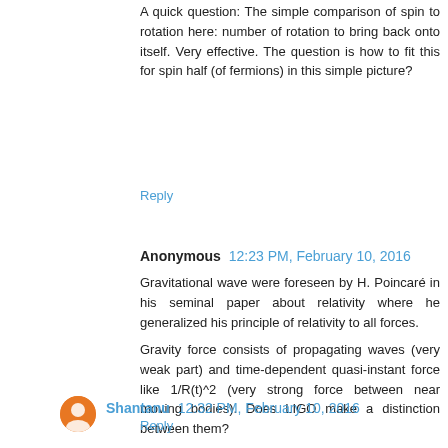A quick question: The simple comparison of spin to rotation here: number of rotation to bring back onto itself. Very effective. The question is how to fit this for spin half (of fermions) in this simple picture?
Reply
Anonymous 12:23 PM, February 10, 2016
Gravitational wave were foreseen by H. Poincaré in his seminal paper about relativity where he generalized his principle of relativity to all forces.
Gravity force consists of propagating waves (very weak part) and time-dependent quasi-instant force like 1/R(t)^2 (very strong force between near moving bodies). Does LIGO make a distinction between them?
Reply
Shantanu 12:32 PM, February 10, 2016